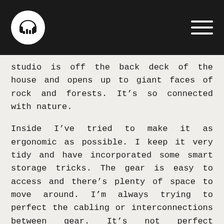[Figure (logo): Circular white logo with headphones and bar chart icon on black header bar]
studio is off the back deck of the house and opens up to giant faces of rock and forests. It’s so connected with nature.
Inside I’ve tried to make it as ergonomic as possible. I keep it very tidy and have incorporated some smart storage tricks. The gear is easy to access and there’s plenty of space to move around. I’m always trying to perfect the cabling or interconnections between gear. It’s not perfect everywhere but my setup and wiring is really complex. A mastering setup is hooked up really differently than your typical writing/mixing setup and I’m trying to do both. Sometimes there’s a piece of gear that I wish was connected to a different part of the studio. I’d like to have better routing of computer audio tracks out to my hardware effects processors. Right